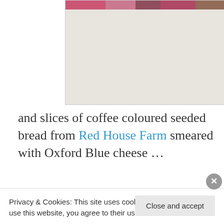[Figure (photo): Top portion of a polaroid-style photo showing colorful food items, partially cut off at the top of the page]
and slices of coffee coloured seeded bread from Red House Farm smeared with Oxford Blue cheese …
[Figure (photo): Polaroid-style photo showing a wine bottle lying on a green textured surface, with what appears to be a cat visible in the background]
Privacy & Cookies: This site uses cookies. By continuing to use this website, you agree to their use.
To find out more, including how to control cookies, see here: Cookie Policy
Close and accept